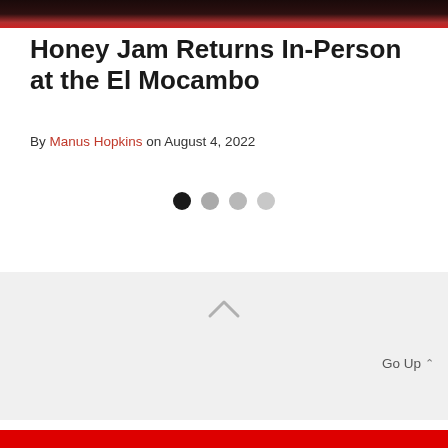[Figure (photo): Top portion of a concert/performer photo with dark background, red and dark tones visible]
Honey Jam Returns In-Person at the El Mocambo
By Manus Hopkins on August 4, 2022
[Figure (infographic): Four pagination dots: first dot is dark/black, dots 2-4 are progressively lighter gray]
Go Up ^